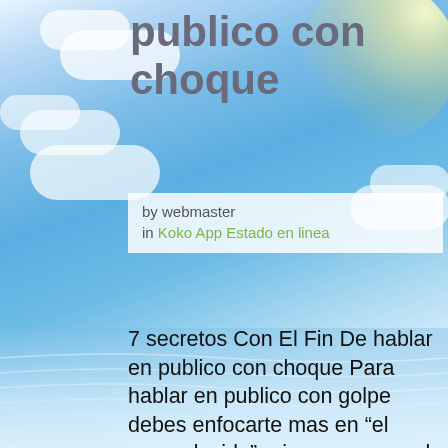publico con choque
by webmaster
in Koko App Estado en linea
7 secretos Con El Fin De hablar en publico con choque Para hablar en publico con golpe debes enfocarte mas en “el como decirlo” primero que en el “que decir”. Por bastante extrano que parezca el publico no califica la abundancia de noticia que domina el orador. a ninguna persona la han hexaedro un premio por ser el orador que mas horas ha hablado. Puedes